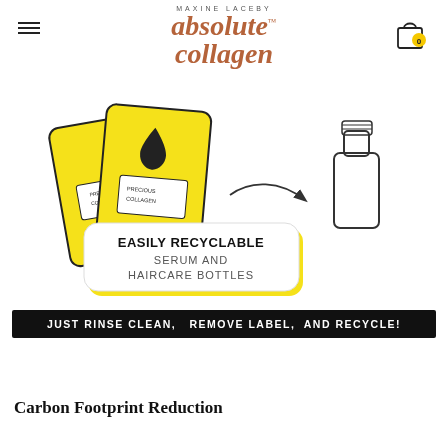MAXINE LACEBY absolute collagen
[Figure (illustration): Yellow product sachets on the left with an arrow pointing to a glass bottle outline on the right. A rounded white box with yellow shadow contains text: EASILY RECYCLABLE SERUM AND HAIRCARE BOTTLES]
JUST RINSE CLEAN,   REMOVE LABEL,  AND RECYCLE!
Carbon Footprint Reduction